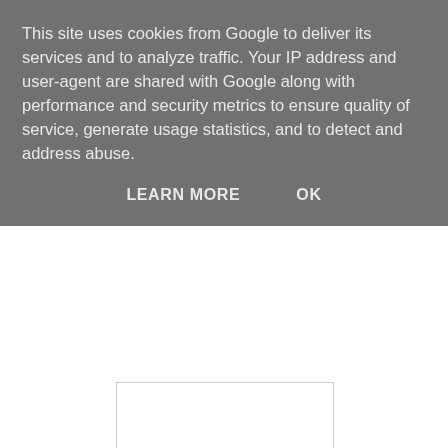This site uses cookies from Google to deliver its services and to analyze traffic. Your IP address and user-agent are shared with Google along with performance and security metrics to ensure quality of service, generate usage statistics, and to detect and address abuse.
LEARN MORE    OK
[Figure (other): White rectangular image placeholder area for Polka Dot Apron product photo]
Polka Dot Apron
Running an online business selling clothing is difficult enough, I should know having run one. But making personalised items is a whole different ball game – her items